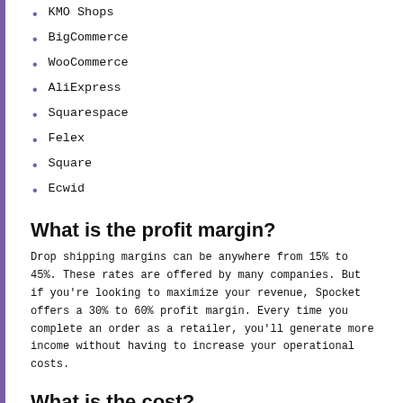KMO Shops
BigCommerce
WooCommerce
AliExpress
Squarespace
Felex
Square
Ecwid
What is the profit margin?
Drop shipping margins can be anywhere from 15% to 45%. These rates are offered by many companies. But if you're looking to maximize your revenue, Spocket offers a 30% to 60% profit margin. Every time you complete an order as a retailer, you'll generate more income without having to increase your operational costs.
What is the cost?